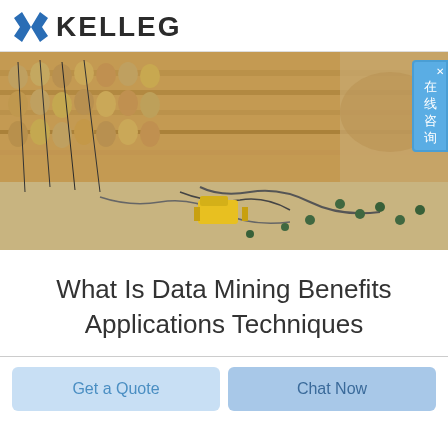KELLEG
[Figure (photo): Aerial view of a large open-pit mining site showing rows of drilling equipment and machinery along excavated walls, with cables and hoses on the ground and yellow equipment in the center.]
What Is Data Mining Benefits Applications Techniques
Get a Quote
Chat Now